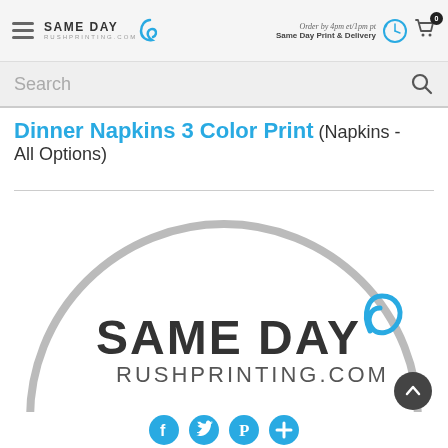Same Day RushPrinting.com — Order by 4pm et/1pm pt Same Day Print & Delivery
Search
Dinner Napkins 3 Color Print (Napkins - All Options)
[Figure (logo): Same Day RushPrinting.com logo displayed inside a large gray semicircle arc, with social media icons (Facebook, Twitter, Pinterest, plus) at the bottom.]